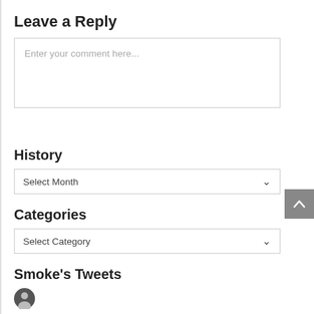Leave a Reply
[Figure (other): Comment text area input box with placeholder text 'Enter your comment here...']
History
[Figure (other): Dropdown select box with placeholder 'Select Month' and a chevron arrow]
Categories
[Figure (other): Dropdown select box with placeholder 'Select Category' and a chevron arrow]
Smoke's Tweets
[Figure (photo): Small circular avatar photo of a person]